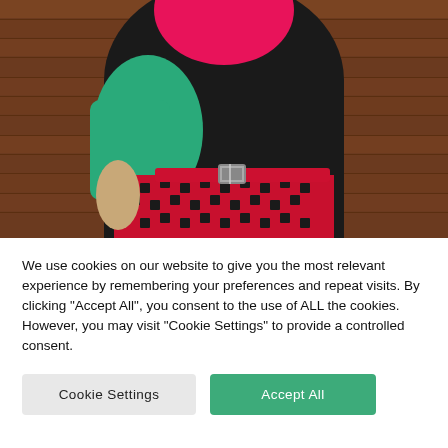[Figure (photo): Fashion photo of a person wearing a black sweater with teal/green panel, pink top visible at neckline, and red-and-black houndstooth patterned trousers with a red belt with silver buckle. Background is warm brown wooden planks.]
We use cookies on our website to give you the most relevant experience by remembering your preferences and repeat visits. By clicking “Accept All”, you consent to the use of ALL the cookies. However, you may visit "Cookie Settings" to provide a controlled consent.
Cookie Settings
Accept All